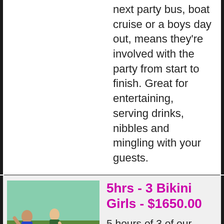next party bus, boat cruise or a boys day out, means they're involved with the party from start to finish. Great for entertaining, serving drinks, nibbles and mingling with your guests.
5hrs - 3 Bikini Girls - $1650.00
[Figure (photo): Two women in bikinis washing a red sports car outdoors]
5 hours of 3 of our bikini girls, for your next stag party. Booking them longer for your next party bus, boat cruise or a boys day out, means they're involved with the party from start to finish. Great for entertaining, serving drinks,